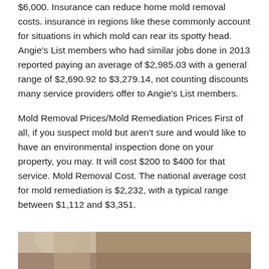$6,000. Insurance can reduce home mold removal costs. insurance in regions like these commonly account for situations in which mold can rear its spotty head. Angie’s List members who had similar jobs done in 2013 reported paying an average of $2,985.03 with a general range of $2,690.92 to $3,279.14, not counting discounts many service providers offer to Angie’s List members.
Mold Removal Prices/Mold Remediation Prices First of all, if you suspect mold but aren’t sure and would like to have an environmental inspection done on your property, you may. It will cost $200 to $400 for that service. Mold Removal Cost. The national average cost for mold remediation is $2,232, with a typical range between $1,112 and $3,351.
[Figure (photo): Partial photo of a person, cropped at the bottom of the page]